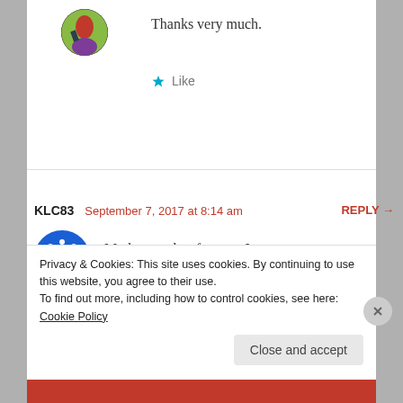Thanks very much.
Like
KLC83   September 7, 2017 at 8:14 am   REPLY →
My heart aches for you. I am so sorry.
Privacy & Cookies: This site uses cookies. By continuing to use this website, you agree to their use.
To find out more, including how to control cookies, see here: Cookie Policy
Close and accept